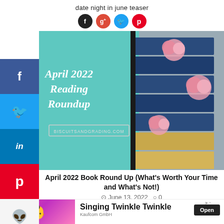date night in june teaser
[Figure (illustration): Social media share icons: Facebook (f), Google+ (g+), Twitter (bird), Pinterest (p) in dark circles]
[Figure (photo): April 2022 Reading Roundup book blog image showing stacked blue books with pink roses on a teal and photo split background, with text 'April 2022 Reading Roundup' and 'biscuitsandgrading.com']
[Figure (infographic): Side social share bar with Facebook (blue), Twitter (light blue), LinkedIn (dark blue), Pinterest (red), Reddit, and more (chevron) buttons]
April 2022 Book Round Up (What's Worth Your Time and What's Not!)
June 13, 2022   0
[Figure (illustration): Advertisement: Animated baby character singing, pink/magenta background with glowing heart. App advertisement for 'Singing Twinkle Twinkle' by Kaufcom GmbH with an Open button.]